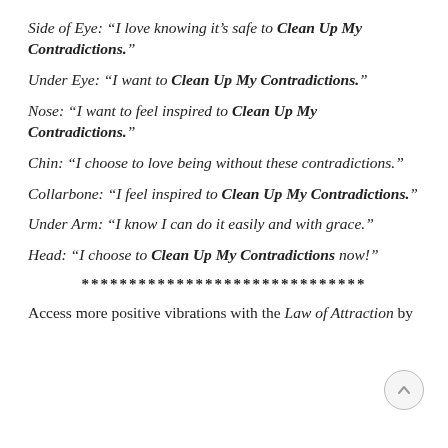Side of Eye: “I love knowing it’s safe to Clean Up My Contradictions.”
Under Eye: “I want to Clean Up My Contradictions.”
Nose: “I want to feel inspired to Clean Up My Contradictions.”
Chin: “I choose to love being without these contradictions.”
Collarbone: “I feel inspired to Clean Up My Contradictions.”
Under Arm: “I know I can do it easily and with grace.”
Head: “I choose to Clean Up My Contradictions now!”
******************************
Access more positive vibrations with the Law of Attraction by